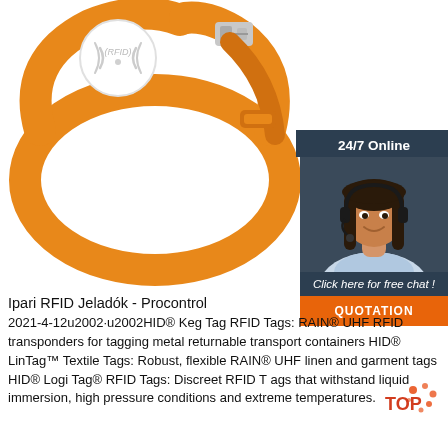[Figure (photo): Orange RFID wristband/bracelet with white circular RFID tag, shown against white background]
[Figure (infographic): 24/7 Online chat widget with woman wearing headset, 'Click here for free chat!' text, and orange QUOTATION button]
Ipari RFID Jeladók - Procontrol
2021-4-12u2002·u2002HID® Keg Tag RFID Tags: RAIN® UHF RFID transponders for tagging metal returnable transport containers HID® LinTag™ Textile Tags: Robust, flexible RAIN® UHF linen and garment tags HID® Logi Tag® RFID Tags: Discreet RFID Tags that withstand liquid immersion, high pressure conditions and extreme temperatures.